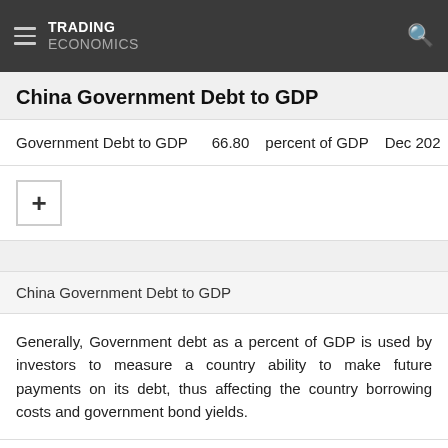TRADING ECONOMICS
China Government Debt to GDP
|  | Value | Unit | Date |
| --- | --- | --- | --- |
| Government Debt to GDP | 66.80 | percent of GDP | Dec 202 |
China Government Debt to GDP
Generally, Government debt as a percent of GDP is used by investors to measure a country ability to make future payments on its debt, thus affecting the country borrowing costs and government bond yields.
| Actual | Previous | Highest | Lowest | Dates | Unit |
| --- | --- | --- | --- | --- | --- |
| 66.80 | 57.10 | 66.80 | 20.60 | 1995 2020 | percen |